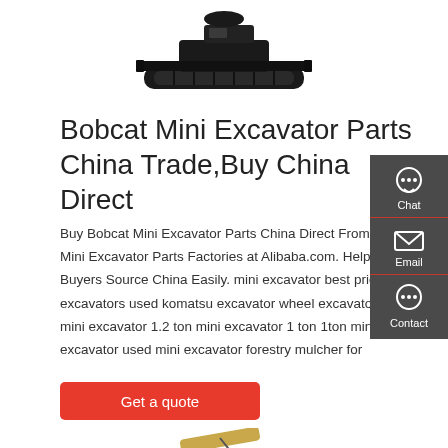[Figure (photo): Black mini excavator/bulldozer with tracks and blade attachment, viewed from above-front angle]
Bobcat Mini Excavator Parts China Trade,Buy China Direct
Buy Bobcat Mini Excavator Parts China Direct From Bobcat Mini Excavator Parts Factories at Alibaba.com. Help Global Buyers Source China Easily. mini excavator best price mini excavators used komatsu excavator wheel excavator mini mini excavator 1.2 ton mini excavator 1 ton 1ton mini excavator used mini excavator forestry mulcher for
[Figure (infographic): Sidebar with Chat, Email, and Contact icons on dark grey background]
[Figure (photo): Yellow/tan excavator attachment (bucket or thumb) with cable/chain, partial view at bottom of page]